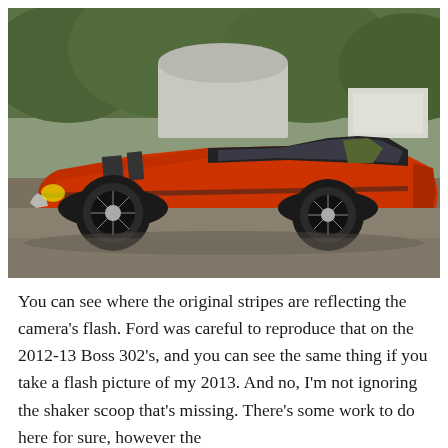[Figure (photo): Side profile photo of a red classic Ford Mustang Boss 302 (circa 1970) parked on a gravel driveway. The car has dark racing stripes on the hood and body side with a green/olive accent stripe on the C-pillar area. Black Magnum 500 style wheels. Background shows trees and metal storage structures.]
You can see where the original stripes are reflecting the camera's flash. Ford was careful to reproduce that on the 2012-13 Boss 302's, and you can see the same thing if you take a flash picture of my 2013. And no, I'm not ignoring the shaker scoop that's missing. There's some work to do here for sure, however the